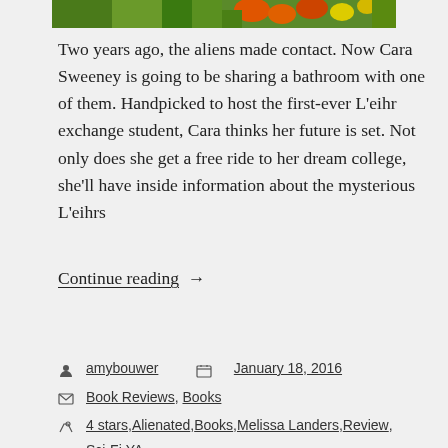[Figure (photo): Top portion of a colorful flower/garden photo, cropped at the top of the page]
Two years ago, the aliens made contact. Now Cara Sweeney is going to be sharing a bathroom with one of them. Handpicked to host the first-ever L’eihr exchange student, Cara thinks her future is set. Not only does she get a free ride to her dream college, she’ll have inside information about the mysterious L’eihrs
Continue reading →
amybouwer   January 18, 2016
Book Reviews, Books
4 stars, Alienated, Books, Melissa Landers, Review, Sci-Fi, YA